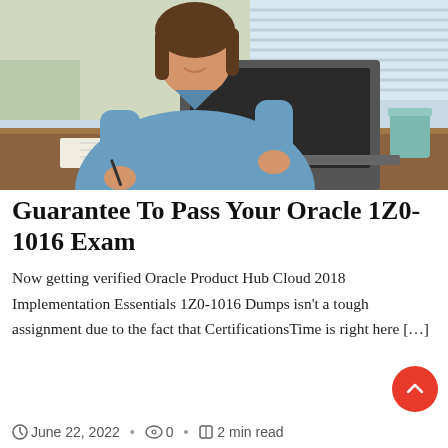[Figure (photo): Woman in denim shirt sitting at a desk, writing in a notebook and working on a laptop, smiling]
Guarantee To Pass Your Oracle 1Z0-1016 Exam
Now getting verified Oracle Product Hub Cloud 2018 Implementation Essentials 1Z0-1016 Dumps isn't a tough assignment due to the fact that CertificationsTime is right here […]
June 22, 2022 · 0 · 2 min read